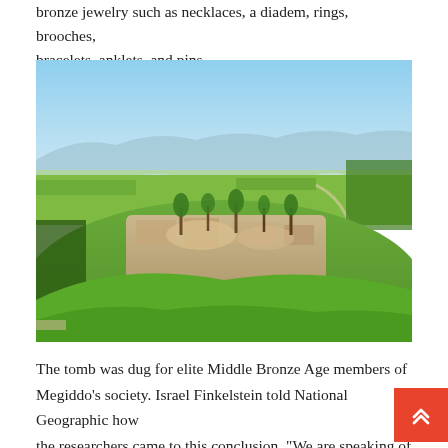bronze jewelry such as necklaces, a diadem, rings, brooches, bracelets, anklets, and pins.
[Figure (photo): Aerial photograph of the archaeological site of Megiddo (Tel Megiddo), showing ancient ruins on a hill mound surrounded by green vegetation, with agricultural fields and distant mountains visible in the background under a clear blue sky.]
The tomb was dug for elite Middle Bronze Age members of Megiddo's society. Israel Finkelstein told National Geographic how the researchers came to this conclusion, "We are speaking of an elite family burial because of the monumentality of the structur